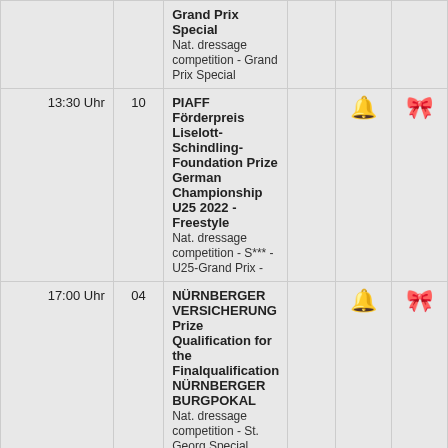| Time | Nr | Event |  | Bell | Ribbon |
| --- | --- | --- | --- | --- | --- |
|  |  | Grand Prix Special
Nat. dressage competition - Grand Prix Special |  |  |  |
| 13:30 Uhr | 10 | PIAFF Förderpreis Liselott-Schindling-Foundation Prize German Championship U25 2022 - Freestyle
Nat. dressage competition - S*** - U25-Grand Prix - |  | 🔔 | 🎀 |
| 17:00 Uhr | 04 | NÜRNBERGER VERSICHERUNG Prize Qualification for the Finalqualification NÜRNBERGER BURGPOKAL
Nat. dressage competition - St. Georg Special |  | 🔔 | 🎀 |
Sonntag, 12.06.2022
Jumping Stadion - Piepenstock Arena
| Time | Nr | Event |  | Bell | Ribbon |
| --- | --- | --- | --- | --- | --- |
| 08:00 Uhr | 33 | WEISBAUER ELEKTRONIK Prize
Int. jumping |  |  |  |